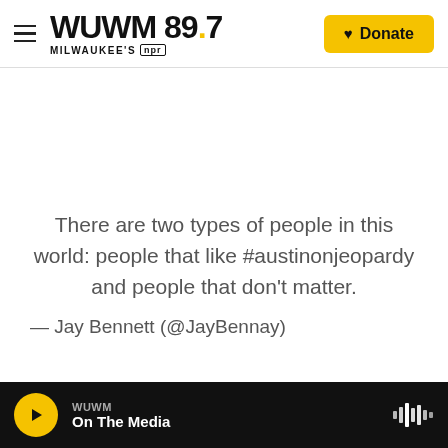WUWM 89.7 MILWAUKEE'S npr — Donate
There are two types of people in this world: people that like #austinonjeopardy and people that don't matter.
— Jay Bennett (@JayBennay)
WUWM — On The Media